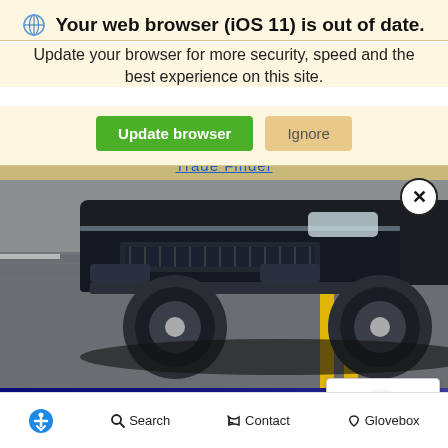Your web browser (iOS 11) is out of date.
Update your browser for more security, speed and the best experience on this site.
Update browser | Ignore
Trade Finder
[Figure (photo): Close-up front-low angle photo of a dark blue/black SUV driving on a road with yellow center lane markings, motion blur visible on road surface]
[Figure (logo): Google reCAPTCHA badge with blue circular arrow logo and 'Privacy - Terms' text]
Accessibility | Search | Contact | Glovebox